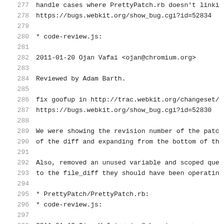Source code / changelog view, lines 277-308
277     handle cases where PrettyPatch.rb doesn't linki
278     https://bugs.webkit.org/show_bug.cgi?id=52834
279
280     * code-review.js:
281
282 2011-01-20  Ojan Vafai  <ojan@chromium.org>
283
284         Reviewed by Adam Barth.
285
286         fix goofup in http://trac.webkit.org/changeset/
287         https://bugs.webkit.org/show_bug.cgi?id=52830
288
289         We were showing the revision number of the patc
290         of the diff and expanding from the bottom of th
291
292         Also, removed an unused variable and scoped que
293         to the file_diff they should have been operatin
294
295         * PrettyPatch/PrettyPatch.rb:
296         * code-review.js:
297
298 2011-01-19  Ojan Vafai  <ojan@chromium.org>
299
300         Reviewed by Adam Barth.
301
302         [reviewtool] Add a link for annotated trac page
303         https://bugs.webkit.org/show_bug.cgi?id=52747
304
305         -add line numbers to all trac links to the firs
306         -add annotate/review log links
307         -make file-diff links other than the file name
308         -fix white-space to only wrap the .text element